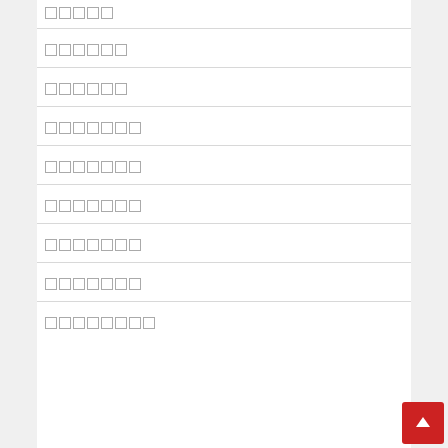█████
██████
██████
███████
███████
███████
███████
███████
████████